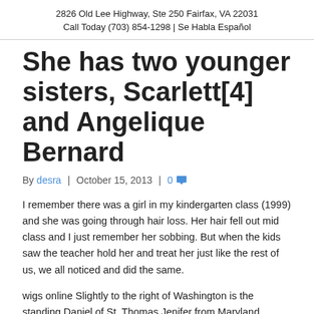2826 Old Lee Highway, Ste 250 Fairfax, VA 22031
Call Today (703) 854-1298 | Se Habla Español
She has two younger sisters, Scarlett[4] and Angelique Bernard
By desra | October 15, 2013 | 0
I remember there was a girl in my kindergarten class (1999) and she was going through hair loss. Her hair fell out mid class and I just remember her sobbing. But when the kids saw the teacher hold her and treat her just like the rest of us, we all noticed and did the same.
wigs online Slightly to the right of Washington is the standing Daniel of St. Thomas Jenifer from Maryland. William Jackson, the Convention's secretary, is unusually prominent in the painting